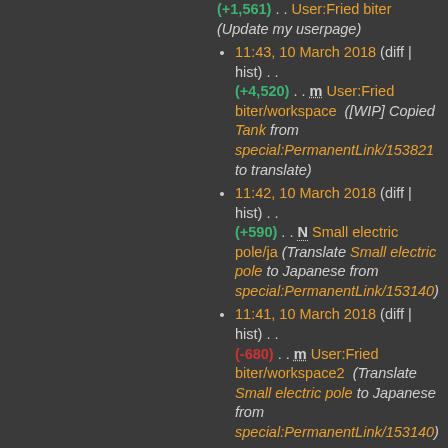(+1,561) . . User:Fried biter (Update my userpage)
11:43, 10 March 2018 (diff | hist) . . (+4,520) . . m User:Fried biter/workspace ([WIP] Copied Tank from special:PermanentLink/153821 to translate)
11:42, 10 March 2018 (diff | hist) . . (+590) . . N Small electric pole/ja (Translate Small electric pole to Japanese from special:PermanentLink/153140)
11:41, 10 March 2018 (diff | hist) . . (-680) . . m User:Fried biter/workspace2 (Translate Small electric pole to Japanese from special:PermanentLink/153140)
11:36, 10 March 2018 (diff | hist) . . (-1,082) . . m User:Fried biter/workspace2 ([WIP] Copied